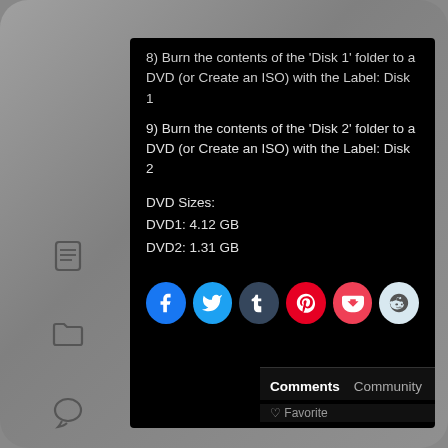8) Burn the contents of the 'Disk 1' folder to a DVD (or Create an ISO) with the Label: Disk 1
9) Burn the contents of the 'Disk 2' folder to a DVD (or Create an ISO) with the Label: Disk 2
DVD Sizes:
DVD1: 4.12 GB
DVD2: 1.31 GB
[Figure (screenshot): Social share buttons: Facebook, Twitter, Tumblr, Pinterest, Pocket, Reddit]
Comments   Community   [lock]   [1]   Login ▾
♡ Favorite   Sort by Best ▾